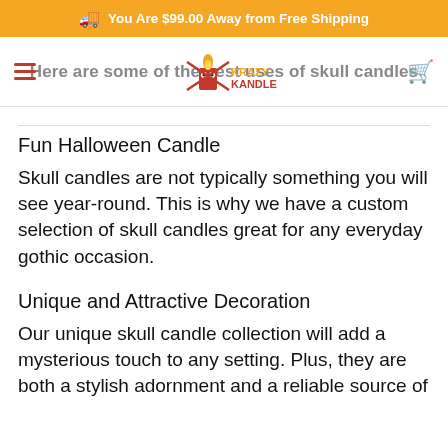You Are $99.00 Away from Free Shipping
Here are some of the best uses of skull candles
Fun Halloween Candle
Skull candles are not typically something you will see year-round. This is why we have a custom selection of skull candles great for any everyday gothic occasion.
Unique and Attractive Decoration
Our unique skull candle collection will add a mysterious touch to any setting. Plus, they are both a stylish adornment and a reliable source of